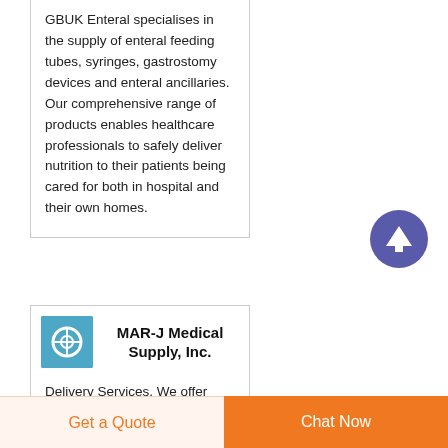GBUK Enteral specialises in the supply of enteral feeding tubes, syringes, gastrostomy devices and enteral ancillaries. Our comprehensive range of products enables healthcare professionals to safely deliver nutrition to their patients being cared for both in hospital and their own homes.
[Figure (other): Circular purple/blue button with white upward arrow icon (scroll-to-top button)]
MAR-J Medical Supply, Inc.
Delivery Services. We offer same-day shipping for orders
Get a Quote   Chat Now